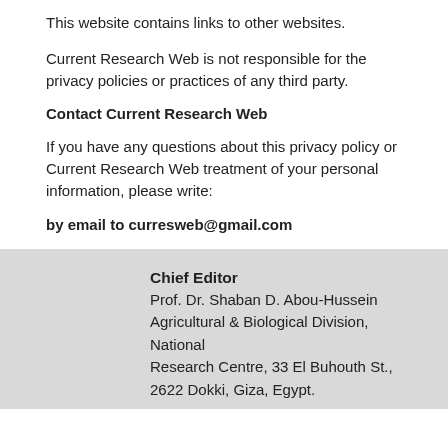This website contains links to other websites.
Current Research Web is not responsible for the privacy policies or practices of any third party.
Contact Current Research Web
If you have any questions about this privacy policy or Current Research Web treatment of your personal information, please write:
by email to curresweb@gmail.com
Chief Editor
Prof. Dr. Shaban D. Abou-Hussein
Agricultural & Biological Division, National Research Centre, 33 El Buhouth St.,
2622 Dokki, Giza, Egypt.